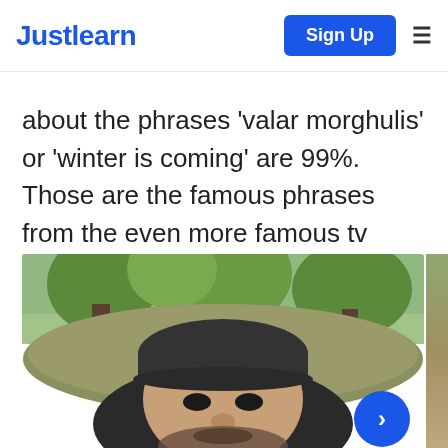Justlearn | Sign Up
about the phrases 'valar morghulis' or 'winter is coming' are 99%. Those are the famous phrases from the even more famous tv series 'Game of Thrones.'
[Figure (photo): A man wearing a dark baseball cap taking a selfie outdoors with trees and a mossy rock or earth mound in the background. A navigation arrow button (>) appears in the lower right corner.]